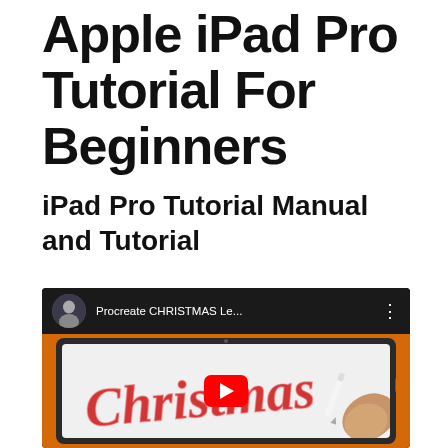Apple iPad Pro Tutorial For Beginners
iPad Pro Tutorial Manual and Tutorial
[Figure (screenshot): YouTube video embed thumbnail showing a Procreate Christmas lettering tutorial on an iPad Pro with a hand holding an Apple Pencil. The video title reads 'Procreate CHRISTMAS Le...' with a red YouTube play button overlaid.]